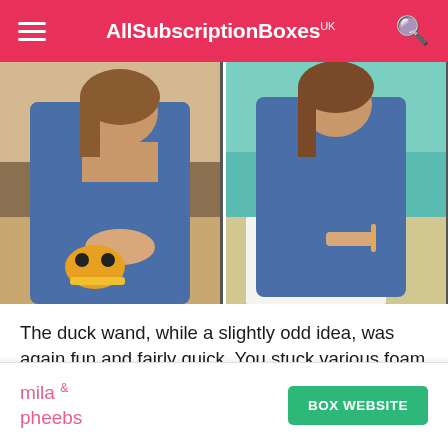AllSubscriptionBoxes UK
[Figure (photo): Two side-by-side photos of a young girl doing crafts at a kitchen table. Left photo: girl placing foam pieces on a duck-shaped template. Right photo: girl drawing or writing on a worksheet.]
The duck wand, while a slightly odd idea, was again fun and fairly quick. You stuck various foam squares on the template, stuck a stick in the bottom (ouch) and the tied on
mila & pheebs | BOX WEBSITE